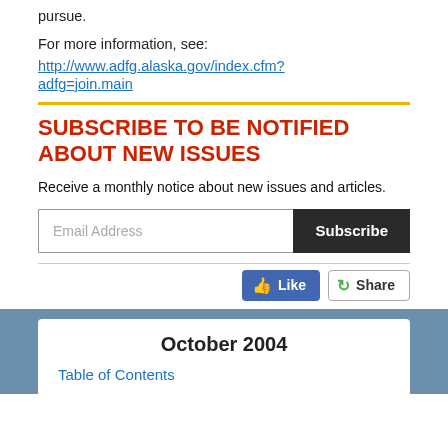pursue.
For more information, see:
http://www.adfg.alaska.gov/index.cfm?
adfg=join.main
SUBSCRIBE TO BE NOTIFIED ABOUT NEW ISSUES
Receive a monthly notice about new issues and articles.
[Figure (other): Email subscription form with Email Address input field and Subscribe button]
[Figure (other): Social sharing buttons: Like (Facebook) and Share]
October 2004
Table of Contents